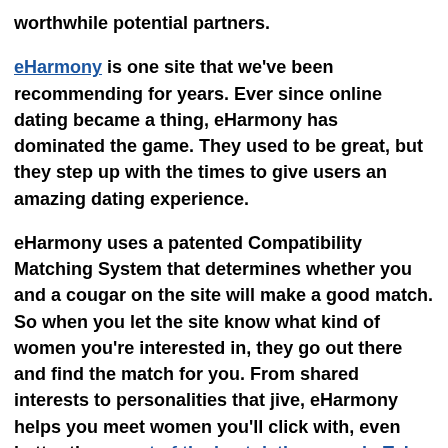worthwhile potential partners.
eHarmony is one site that we've been recommending for years. Ever since online dating became a thing, eHarmony has dominated the game. They used to be great, but they step up with the times to give users an amazing dating experience.
eHarmony uses a patented Compatibility Matching System that determines whether you and a cougar on the site will make a good match. So when you let the site know what kind of women you're interested in, they go out there and find the match for you. From shared interests to personalities that jive, eHarmony helps you meet women you'll click with, even better than most of the best dating apps in Tulsa.